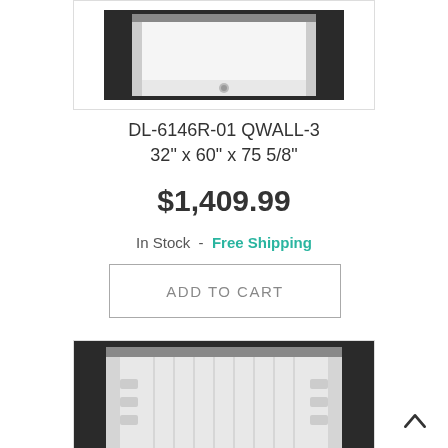[Figure (photo): Top portion of a shower unit (base/floor area) against dark tile background, white interior]
DL-6146R-01 QWALL-3
32" x 60" x 75 5/8"
$1,409.99
In Stock -  Free Shipping
ADD TO CART
[Figure (photo): Shower wall surround unit with shelves on both sides, white interior panels with vertical ridges, set against dark tile background]